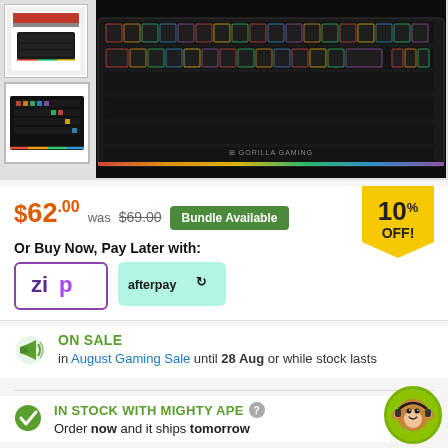[Figure (photo): Two thumbnail images of a Gorilla Gaming mechanical keyboard - first shows box packaging with red/black design, second shows RGB lit keyboard bottom view. Main large image shows black mechanical keyboard with multicolor RGB backlit keys from Gorilla Gaming brand.]
$62.00 was $69.00 Bundle Available
10% OFF!
Or Buy Now, Pay Later with:
[Figure (logo): Zip pay logo - purple text 'zip' with purple border]
[Figure (logo): Afterpay logo - dark text on mint/teal green background]
ON SALE in August Gaming Sale until 28 Aug or while stock lasts
IN STOCK WITH MIGHTY APE Order now and it ships tomorrow